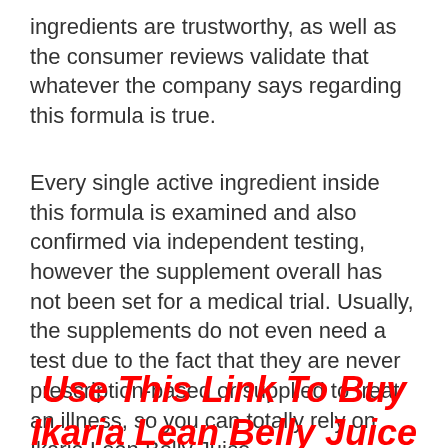ingredients are trustworthy, as well as the consumer reviews validate that whatever the company says regarding this formula is true.
Every single active ingredient inside this formula is examined and also confirmed via independent testing, however the supplement overall has not been set for a medical trial. Usually, the supplements do not even need a test due to the fact that they are never prescription-based or supplied to treat an illness, so you can totally rely on Ikaria Lean Belly Juice.
Use This Link To Buy Ikaria Lean Belly Juice From The